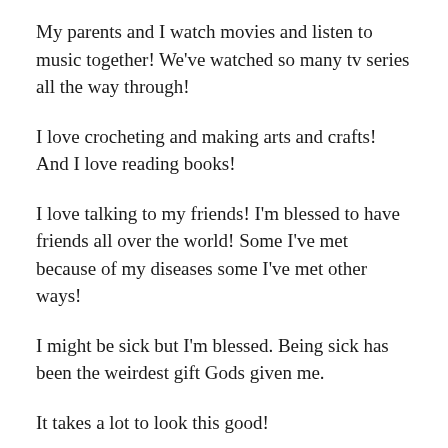My parents and I watch movies and listen to music together! We've watched so many tv series all the way through!
I love crocheting and making arts and crafts! And I love reading books!
I love talking to my friends! I'm blessed to have friends all over the world! Some I've met because of my diseases some I've met other ways!
I might be sick but I'm blessed. Being sick has been the weirdest gift Gods given me.
It takes a lot to look this good!
As I age like everyone your walk with God changes, for